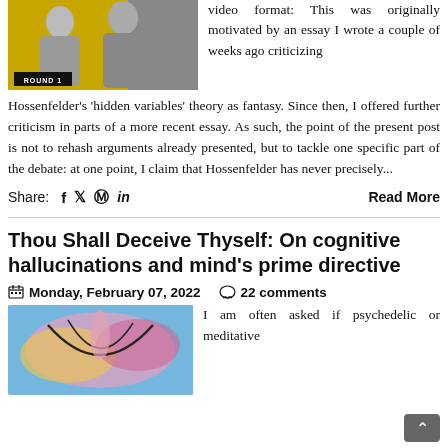[Figure (photo): Black and white photo of two people (man and woman) with a gold/yellow background, labeled 'ROUND 1']
video format: This was originally motivated by an essay I wrote a couple of weeks ago criticizing Hossenfelder's 'hidden variables' theory as fantasy. Since then, I offered further criticism in parts of a more recent essay. As such, the point of the present post is not to rehash arguments already presented, but to tackle one specific part of the debate: at one point, I claim that Hossenfelder has never precisely...
Share: f 🐦  pinterest in   Read More
Thou Shall Deceive Thyself: On cognitive hallucinations and mind's prime directive
Monday, February 07, 2022    22 comments
[Figure (illustration): Colorful abstract artwork featuring butterfly-like shapes in pink, yellow, blue and purple]
I am often asked if psychedelic or meditative